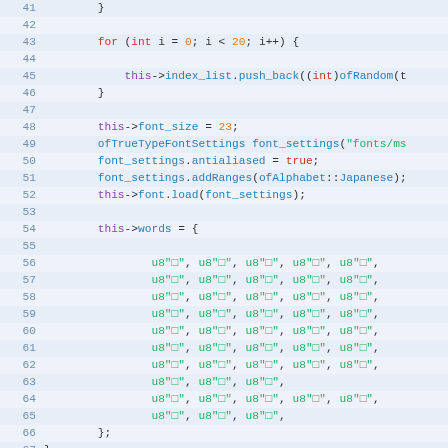Source code listing lines 41-70, showing C++ code with for loop, font settings, Japanese word array initialization, and function declaration
[Figure (screenshot): C++ source code editor view showing lines 41-70 with syntax highlighting. Contains a for loop, font settings code, an array of u8 string literals with Japanese characters, and the beginning of a void function definition.]